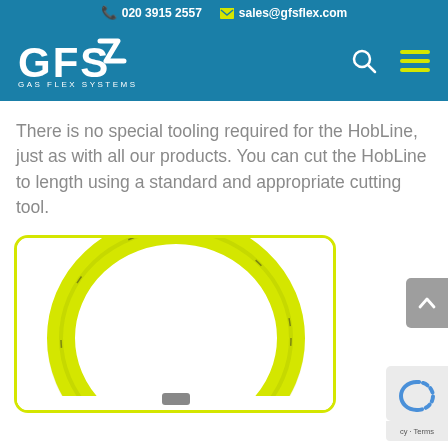020 3915 2557  sales@gfsflex.com
[Figure (logo): GFS Gas Flex Systems logo, white text on teal background with navigation icons]
There is no special tooling required for the HobLine, just as with all our products. You can cut the HobLine to length using a standard and appropriate cutting tool.
[Figure (photo): Yellow HobLine flexible gas hose coiled into a ring shape, shown against a white background inside a yellow-bordered rounded card]